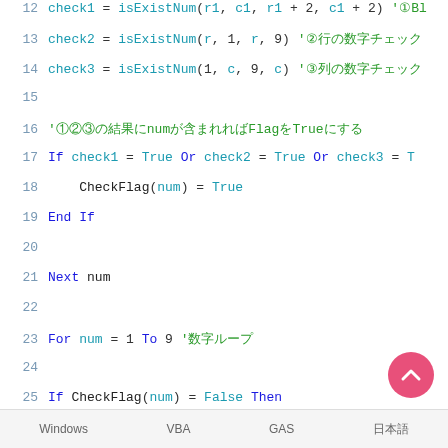[Figure (screenshot): Code editor screenshot showing VBA/GAS code lines 12-32 with syntax highlighting. Keywords in blue, variables in teal, comments in green.]
Windows    VBA    GAS    日本語